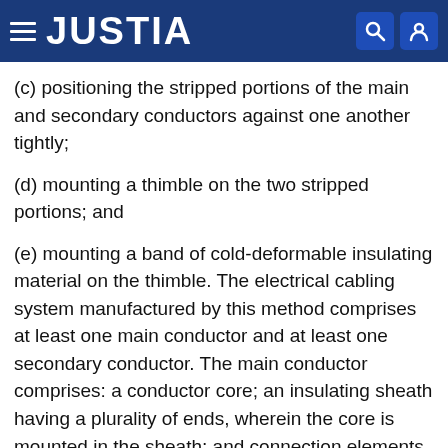JUSTIA
(c) positioning the stripped portions of the main and secondary conductors against one another tightly;
(d) mounting a thimble on the two stripped portions; and
(e) mounting a band of cold-deformable insulating material on the thimble. The electrical cabling system manufactured by this method comprises at least one main conductor and at least one secondary conductor. The main conductor comprises: a conductor core; an insulating sheath having a plurality of ends, wherein the core is mounted in the sheath; and connection elements connected to the plurality of ends. The connection elements comprise box elements comprising either male plugs or female sockets adapted to engage complementary elements. The at least one secondary